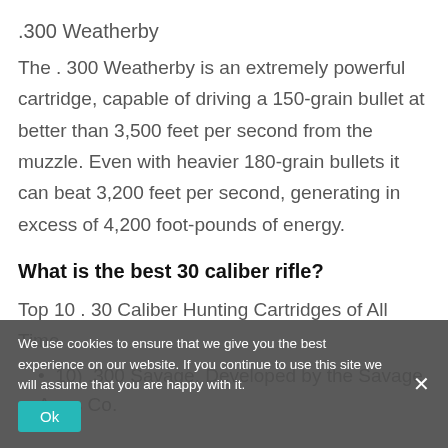.300 Weatherby
The . 300 Weatherby is an extremely powerful cartridge, capable of driving a 150-grain bullet at better than 3,500 feet per second from the muzzle. Even with heavier 180-grain bullets it can beat 3,200 feet per second, generating in excess of 4,200 foot-pounds of energy.
What is the best 30 caliber rifle?
Top 10 . 30 Caliber Hunting Cartridges of All Time
10) .300 Savage. Developed by the Savage Arms Co.
We use cookies to ensure that we give you the best experience on our website. If you continue to use this site we will assume that you are happy with it.